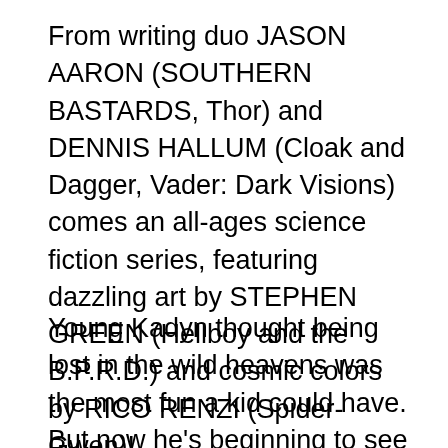From writing duo JASON AARON (SOUTHERN BASTARDS, Thor) and DENNIS HALLUM (Cloak and Dagger, Vader: Dark Visions) comes an all-ages science fiction series, featuring dazzling art by STEPHEN GREEN (Hellboy and the B.P.R.D.) and cosmic colors by RICO RENZI (Spider-Gwen)!
Young Kadyn thought being lost in the wild heavens was the most fun a kid could have. But now he's beginning to see the